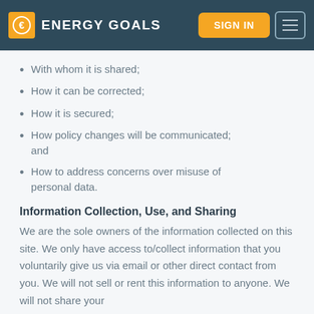ENERGY GOALS — SIGN IN
With whom it is shared;
How it can be corrected;
How it is secured;
How policy changes will be communicated; and
How to address concerns over misuse of personal data.
Information Collection, Use, and Sharing
We are the sole owners of the information collected on this site. We only have access to/collect information that you voluntarily give us via email or other direct contact from you. We will not sell or rent this information to anyone. We will not share your information with any third party outside of our organization,